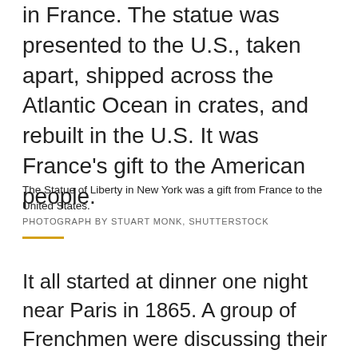in France. The statue was presented to the U.S., taken apart, shipped across the Atlantic Ocean in crates, and rebuilt in the U.S. It was France's gift to the American people.
The Statue of Liberty in New York was a gift from France to the United States.
PHOTOGRAPH BY STUART MONK, SHUTTERSTOCK
It all started at dinner one night near Paris in 1865. A group of Frenchmen were discussing their dictator-like emperor and the democratic government of the U.S. They decided to build a monument to American freedom—and perhaps even strengthen French demands for